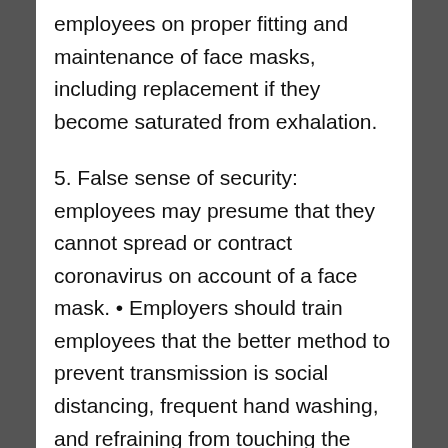employees on proper fitting and maintenance of face masks, including replacement if they become saturated from exhalation.
5. False sense of security: employees may presume that they cannot spread or contract coronavirus on account of a face mask. • Employers should train employees that the better method to prevent transmission is social distancing, frequent hand washing, and refraining from touching the face, and that face masks serve as an imperfect supplemental protection. • Employers may also wish to confirm to employees that these devices are not respirators and may not prevent infection